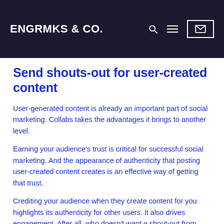ENGRMKS & CO.
Send shouts-out for user-created content
User-generated content is already an important part of social marketing. Collabs takes the advantages it brings to another level.
Earning your audience's trust is critical for successful social marketing. And the appearance of authenticity that posting user-created content creates is an effective way of getting that trust.
Crediting your audience when they create content for you highlights its authenticity for other users. It also drives engagement. After all, who doesn't want a shout-out from their favorite